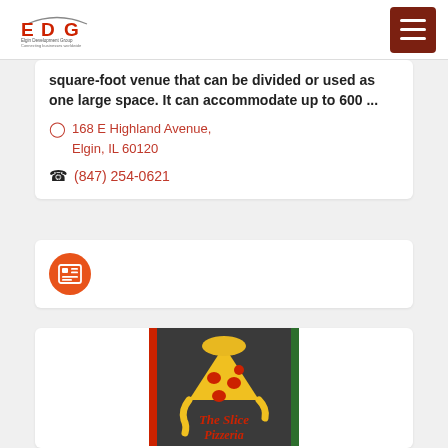EDG Elgin Development Group - Connecting businesses worldwide
square-foot venue that can be divided or used as one large space. It can accommodate up to 600 ...
168 E Highland Avenue, Elgin, IL 60120
(847) 254-0621
[Figure (logo): Orange circle icon with a grid/newspaper symbol]
[Figure (logo): The Slice Pizzeria logo - pizza slice graphic on dark background with red and green borders, script text reading The Slice Pizzeria]